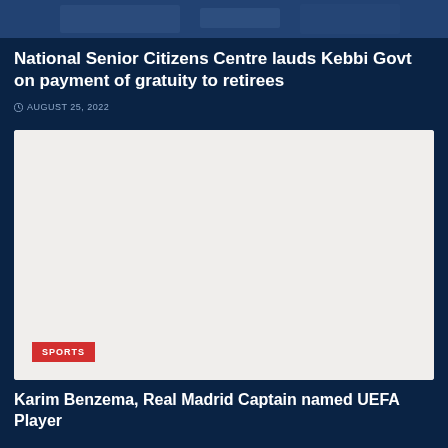[Figure (photo): Top cropped image, dark toned photograph background]
National Senior Citizens Centre lauds Kebbi Govt on payment of gratuity to retirees
AUGUST 25, 2022
[Figure (photo): Large image placeholder with light background and SPORTS category badge]
Karim Benzema, Real Madrid Captain named UEFA Player